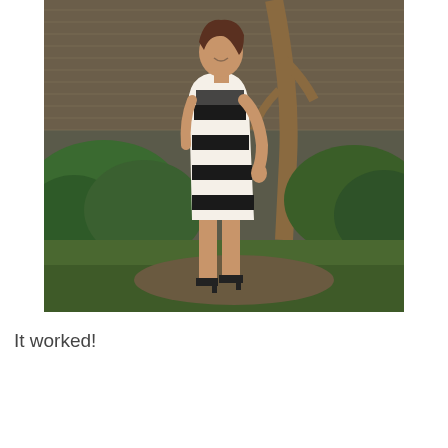[Figure (photo): A woman with short brown hair stands in profile in a garden, looking downward. She is wearing a sleeveless black and white horizontal striped dress and black heeled sandals. The background shows green shrubbery, grass, and a bamboo/reed fence.]
It worked!